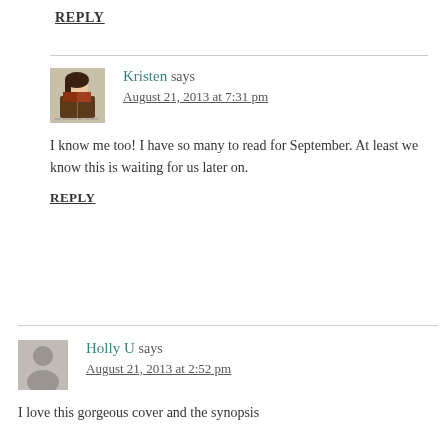REPLY
Kristen says
August 21, 2013 at 7:31 pm
I know me too! I have so many to read for September. At least we know this is waiting for us later on.
REPLY
Holly U says
August 21, 2013 at 2:52 pm
I love this gorgeous cover and the synopsis